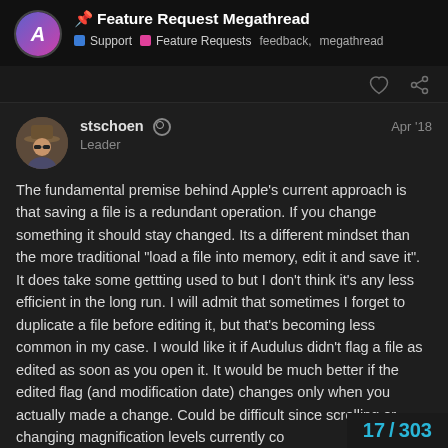📌 Feature Request Megathread | Support | Feature Requests | feedback, megathread
stschoen  Leader  Apr '18
The fundamental premise behind Apple's current approach is that saving a file is a redundant operation. If you change something it should stay changed. Its a different mindset than the more traditional "load a file into memory, edit it and save it". It does take some gettting used to but I don't think it's any less efficient in the long run. I will admit that sometimes I forget to duplicate a file before editing it, but that's becoming less common in my case. I would like it if Audulus didn't flag a file as edited as soon as you open it. It would be much better if the edited flag (and modification date) changes only when you actually made a change. Could be difficult since scrolling or changing magnification levels currently co
17 / 303